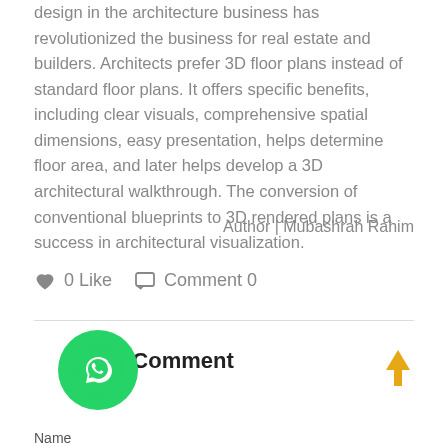design in the architecture business has revolutionized the business for real estate and builders. Architects prefer 3D floor plans instead of standard floor plans. It offers specific benefits, including clear visuals, comprehensive spatial dimensions, easy presentation, helps determine floor area, and later helps develop a 3D architectural walkthrough. The conversion of conventional blueprints to 3D rendered plans is a success in architectural visualization.
Author | Mubashrah Rahim
0 Like   Comment 0
Leave a Comment
Name